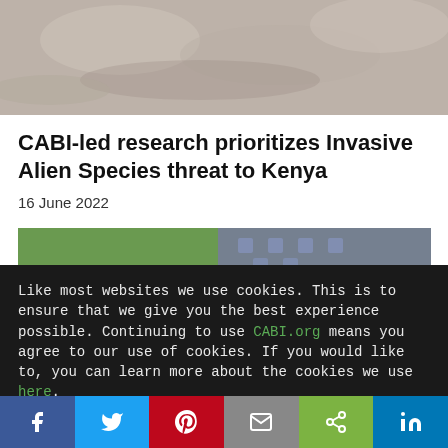[Figure (photo): Close-up photo of rocky/stone textured surface, top portion of article page]
CABI-led research prioritizes Invasive Alien Species threat to Kenya
16 June 2022
[Figure (photo): Photo of a person holding cassava roots with agricultural fields in background]
Like most websites we use cookies. This is to ensure that we give you the best experience possible. Continuing to use CABI.org means you agree to our use of cookies. If you would like to, you can learn more about the cookies we use here.
Ok, that's fine